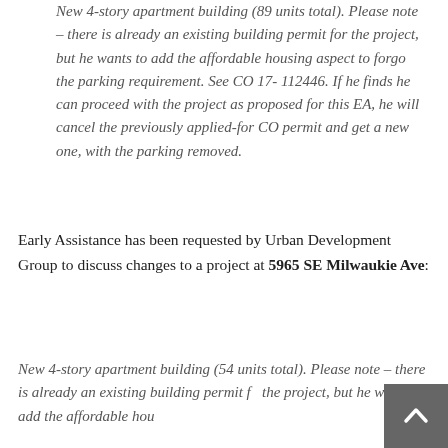Group to discuss changes to a project at 11 or 32 Failing St:
New 4-story apartment building (89 units total). Please note – there is already an existing building permit for the project, but he wants to add the affordable housing aspect to forgo the parking requirement. See CO 17-112446. If he finds he can proceed with the project as proposed for this EA, he will cancel the previously applied-for CO permit and get a new one, with the parking removed.
Early Assistance has been requested by Urban Development Group to discuss changes to a project at 5965 SE Milwaukie Ave:
New 4-story apartment building (54 units total). Please note – there is already an existing building permit for the project, but he wants to add the affordable hou...